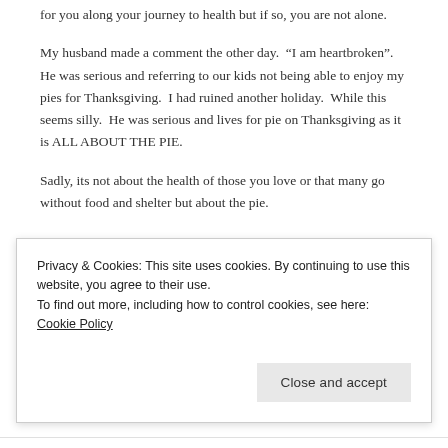for you along your journey to health but if so, you are not alone.
My husband made a comment the other day.  "I am heartbroken".  He was serious and referring to our kids not being able to enjoy my pies for Thanksgiving.  I had ruined another holiday.  While this seems silly.  He was serious and lives for pie on Thanksgiving as it is ALL ABOUT THE PIE.
Sadly, its not about the health of those you love or that many go without food and shelter but about the pie.
Privacy & Cookies: This site uses cookies. By continuing to use this website, you agree to their use.
To find out more, including how to control cookies, see here: Cookie Policy
Close and accept